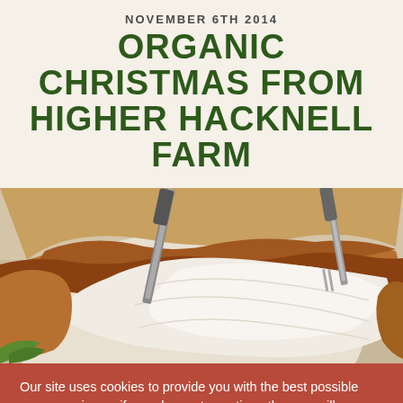NOVEMBER 6TH 2014
ORGANIC CHRISTMAS FROM HIGHER HACKNELL FARM
[Figure (photo): Close-up photo of a roasted turkey or chicken being carved, showing golden-brown crispy skin and white meat, with a carving knife and fork visible.]
Our site uses cookies to provide you with the best possible user experience, if you choose to continue then we will assume that you are happy for your web browser to receive all cookies from our website. For more information, please visit our privacy policy page and cookie policy page.
Cookie Settings ❯  Accept and close ✓